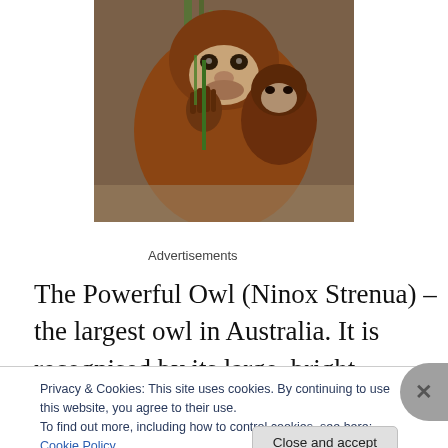[Figure (photo): Photo of an orangutan holding green plant material, with another orangutan partially visible behind it. Dark brownish-red fur, close-up shot.]
Advertisements
The Powerful Owl (Ninox Strenua) – the largest owl in Australia. It is recognised by its large, bright yellow, forward directing eyes. Powerful Owls feed on a range of
Privacy & Cookies: This site uses cookies. By continuing to use this website, you agree to their use.
To find out more, including how to control cookies, see here: Cookie Policy
Close and accept